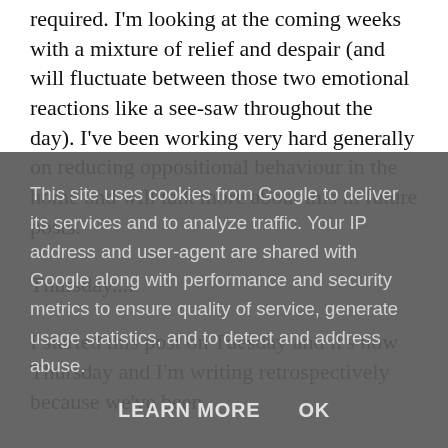required. I'm looking at the coming weeks with a mixture of relief and despair (and will fluctuate between those two emotional reactions like a see-saw throughout the day). I've been working very hard generally on reducing oppositional behaviour in the home and will talk more about this in future posts.
Thursday....
I started this post on Tuesday and it's now Thursday and I'm writing retrospectively because we've been
This site uses cookies from Google to deliver its services and to analyze traffic. Your IP address and user-agent are shared with Google along with performance and security metrics to ensure quality of service, generate usage statistics, and to detect and address abuse.
LEARN MORE   OK